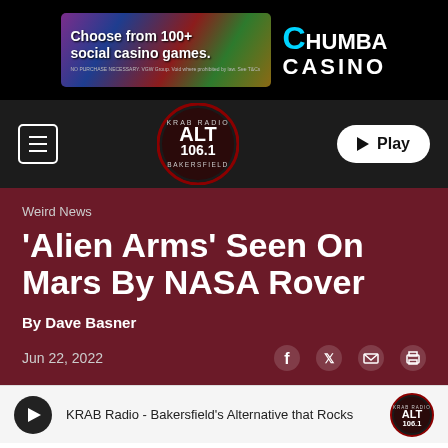[Figure (screenshot): Chumba Casino advertisement banner - 'Choose from 100+ social casino games']
[Figure (logo): ALT 106.1 KRAB Radio circular logo]
Weird News
'Alien Arms' Seen On Mars By NASA Rover
By Dave Basner
Jun 22, 2022
KRAB Radio - Bakersfield's Alternative that Rocks